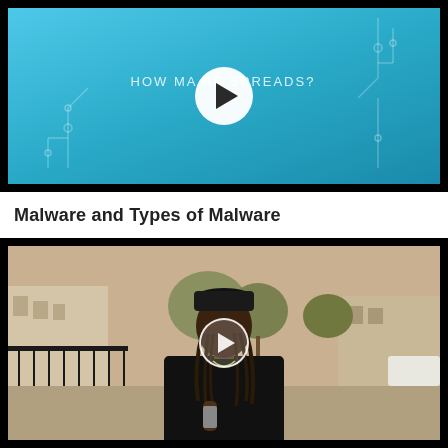[Figure (screenshot): Video thumbnail showing a blue-teal background with circuit board decorative elements, text 'HOW MALWARE SPREADS?' partially visible, and a large white play button circle in the center]
Malware and Types of Malware
[Figure (screenshot): Video thumbnail showing a person with dreadlocks wearing a black cap and black shirt, standing outdoors in what appears to be a parking lot or courtyard area, holding something, with trees and buildings in the background. A semi-transparent play button circle is overlaid in the center.]